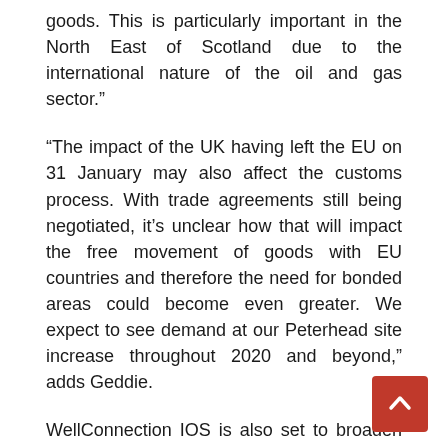goods. This is particularly important in the North East of Scotland due to the international nature of the oil and gas sector.”
“The impact of the UK having left the EU on 31 January may also affect the customs process. With trade agreements still being negotiated, it’s unclear how that will impact the free movement of goods with EU countries and therefore the need for bonded areas could become even greater. We expect to see demand at our Peterhead site increase throughout 2020 and beyond,” adds Geddie.
WellConnection IOS is also set to broaden its service offering at its UK site following an application to SEPA to offer a naturally occurring radioactive materials (NORM) cleaning and handling solution.
WellConnection Group (WCG) already has an approved handling, cleaning and storage facility which was established in 2002 in Tananger, Norway. WCG is the preferred supplier of NORM-related services to almost all major Norwegian